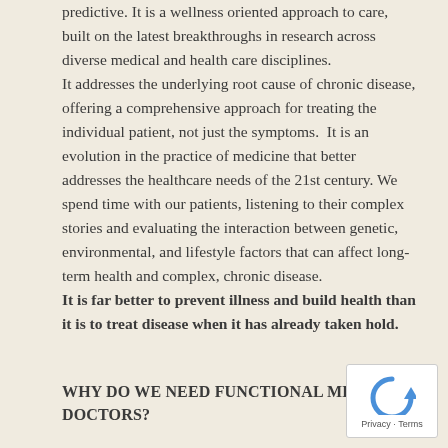predictive. It is a wellness oriented approach to care, built on the latest breakthroughs in research across diverse medical and health care disciplines. It addresses the underlying root cause of chronic disease, offering a comprehensive approach for treating the individual patient, not just the symptoms. It is an evolution in the practice of medicine that better addresses the healthcare needs of the 21st century. We spend time with our patients, listening to their complex stories and evaluating the interaction between genetic, environmental, and lifestyle factors that can affect long-term health and complex, chronic disease. It is far better to prevent illness and build health than it is to treat disease when it has already taken hold.
WHY DO WE NEED FUNCTIONAL MEDICINE DOCTORS?
[Figure (other): reCAPTCHA widget showing a blue circular arrow icon with 'Privacy · Terms' text below]